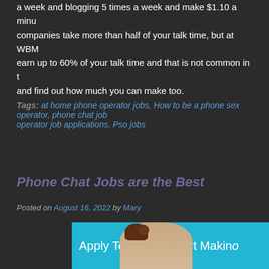a week and blogging 5 times a week and make $1.10 a minute companies take more than half of your talk time, but at WBM earn up to 60% of your talk time and that is not common in t and find out how much you can make too.
Tags: at home phone operator jobs, How to be a phone sex operator, phone chat jobs, operator job applications, Pso jobs
Phone Chat Jobs are the Best
Posted on August 16, 2022 by Mary
[Figure (illustration): Banner image with cyan background showing text 'Apply Today and Start Making' with a woman on the phone]